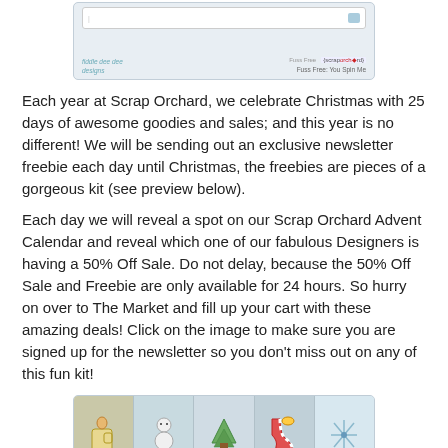[Figure (screenshot): Top portion of a product image showing a scrapbooking kit preview. Left side shows 'fiddle dee dee designs' logo in teal cursive. Right side shows '{scrap orchard}' branding in gray with red leaf, and 'Fuss Free: You Spin Me' text below.]
Each year at Scrap Orchard, we celebrate Christmas with 25 days of awesome goodies and sales; and this year is no different! We will be sending out an exclusive newsletter freebie each day until Christmas, the freebies are pieces of a gorgeous kit (see preview below).
Each day we will reveal a spot on our Scrap Orchard Advent Calendar and reveal which one of our fabulous Designers is having a 50% Off Sale. Do not delay, because the 50% Off Sale and Freebie are only available for 24 hours. So hurry on over to The Market and fill up your cart with these amazing deals! Click on the image to make sure you are signed up for the newsletter so you don't miss out on any of this fun kit!
[Figure (screenshot): Bottom advent calendar image showing 5 calendar tiles with Christmas-themed illustrations including a mug, snowman, Christmas tree, candy cane stocking, and snowflake pattern. Numbers visible include what appears to be calendar day numbers.]